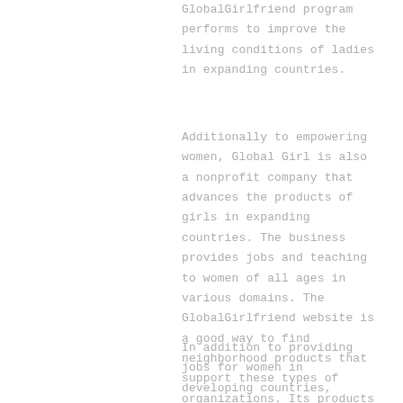GlobalGirlfriend program performs to improve the living conditions of ladies in expanding countries.
Additionally to empowering women, Global Girl is also a nonprofit company that advances the products of girls in expanding countries. The business provides jobs and teaching to women of all ages in various domains. The GlobalGirlfriend website is a good way to find neighborhood products that support these types of organizations. Its products are sold throughout the GlobalGirlfriend web page. This allows you to support females in developing countries and get them by a fair value.
In addition to providing jobs for women in developing countries, GlobalGirlfriend as well supports women of all ages in the producing